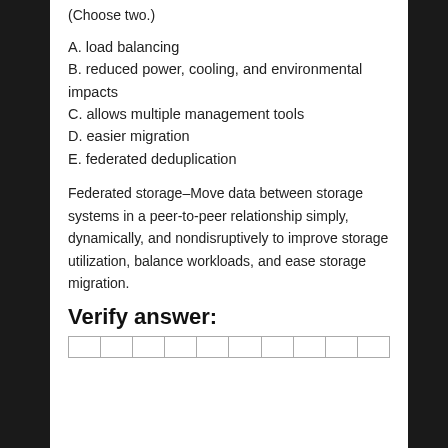(Choose two.)
A. load balancing
B. reduced power, cooling, and environmental impacts
C. allows multiple management tools
D. easier migration
E. federated deduplication
Federated storage–Move data between storage systems in a peer-to-peer relationship simply, dynamically, and nondisruptively to improve storage utilization, balance workloads, and ease storage migration.
Verify answer:
|  |  |  |  |  |  |  |  |  |  |